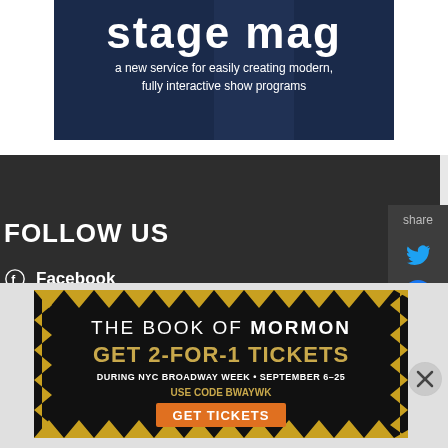[Figure (illustration): Stage Mag advertisement banner with dark navy background showing text 'stage mag' and subtitle 'a new service for easily creating modern, fully interactive show programs']
FOLLOW US
Facebook
Twitter
Instagram
[Figure (infographic): Share sidebar with Twitter and Facebook icons, labeled 'share']
[Figure (illustration): The Book of Mormon advertisement - GET 2-FOR-1 TICKETS DURING NYC BROADWAY WEEK · SEPTEMBER 6-25 USE CODE BWAYWK with GET TICKETS button]